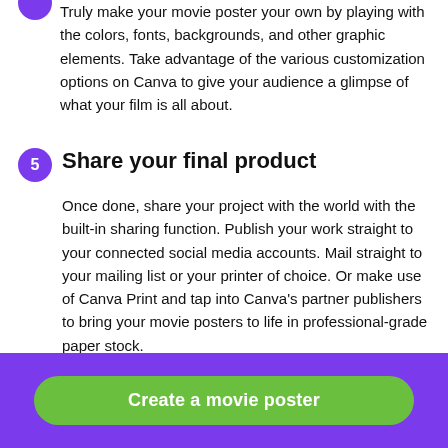Truly make your movie poster your own by playing with the colors, fonts, backgrounds, and other graphic elements. Take advantage of the various customization options on Canva to give your audience a glimpse of what your film is all about.
5 Share your final product
Once done, share your project with the world with the built-in sharing function. Publish your work straight to your connected social media accounts. Mail straight to your mailing list or your printer of choice. Or make use of Canva Print and tap into Canva's partner publishers to bring your movie posters to life in professional-grade paper stock.
[Figure (other): Green rounded button with purple background banner reading 'Create a movie poster']